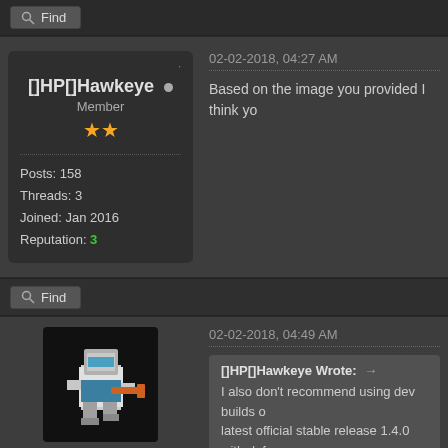Find
[]HP[]Hawkeye • Member
Posts: 158
Threads: 3
Joined: Jan 2016
Reputation: 3
02-02-2018, 04:27 AM
Based on the image you provided I think yo
Find
[Figure (illustration): Pixel art character: white-helmeted figure holding an orange weapon, teal/blue clothing, on black background]
pandubz • Dig Dug Enthusiast
02-02-2018, 04:49 AM
[]HP[]Hawkeye Wrote: → I also don't recommend using dev builds … latest official stable release 1.4.0 with def…
Dev builds aren't unstable, commits get che